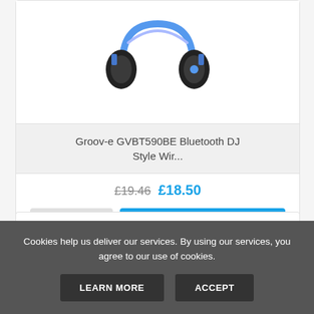[Figure (photo): Blue Groov-e GVBT590BE Bluetooth DJ style wireless headphones shown from front angle]
Groov-e GVBT590BE Bluetooth DJ Style Wir...
£19.46 £18.50
VIEW
ADD TO CART
Cookies help us deliver our services. By using our services, you agree to our use of cookies.
LEARN MORE
ACCEPT